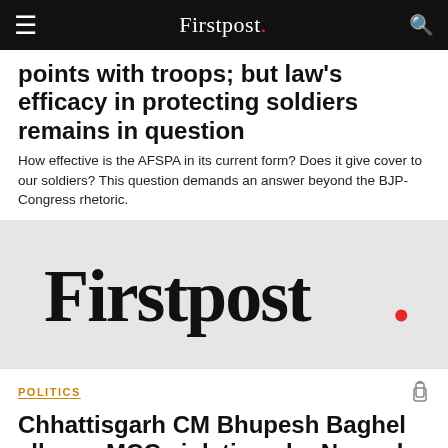Firstpost.
points with troops; but law's efficacy in protecting soldiers remains in question
How effective is the AFSPA in its current form? Does it give cover to our soldiers? This question demands an answer beyond the BJP-Congress rhetoric.
[Figure (logo): Firstpost. logo in large serif black text with red period on light grey background]
POLITICS
Chhattisgarh CM Bhupesh Baghel alleges MCC violations by Narendra...